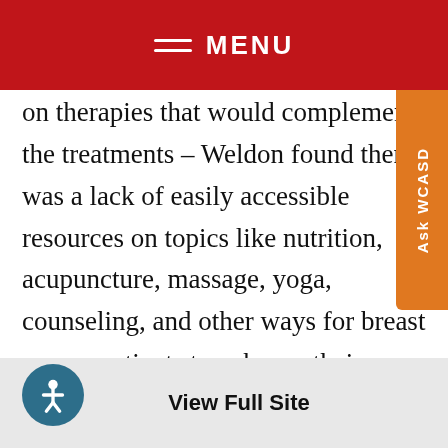MENU
on therapies that would complement the treatments – Weldon found there was a lack of easily accessible resources on topics like nutrition, acupuncture, massage, yoga, counseling, and other ways for breast cancer patients to enhance their wellness while caring for their emotional, spiritual, and physical needs. Weldon decided to create the non-profit Unite for HER organization to help bridge that gap for breast cancer patients while focusing on wellness initiatives that positively impact their health as well as the health
View Full Site